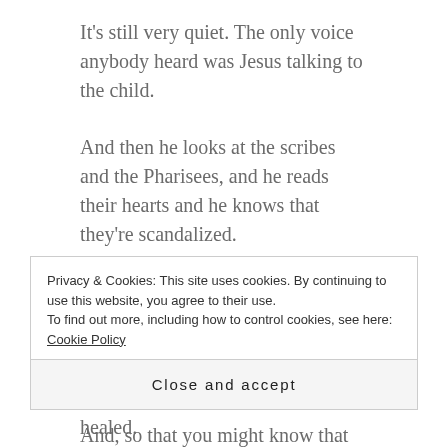It’s still very quiet. The only voice anybody heard was Jesus talking to the child.
And then he looks at the scribes and the Pharisees, and he reads their hearts and he knows that they’re scandalized.
And he says to them, very simply, he says, “What is it easier to say, ‘Your sins are forgiven you’, or to say, ‘Arise and walk’?”
And, so that you might know that the Son of Man has
Privacy & Cookies: This site uses cookies. By continuing to use this website, you agree to their use. To find out more, including how to control cookies, see here: Cookie Policy
Close and accept
totally delighted, because he’s been healed.